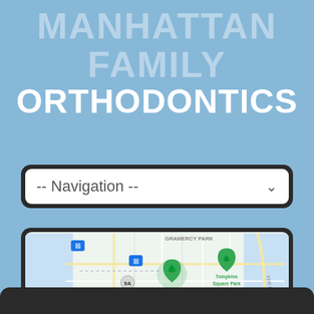MANHATTAN FAMILY ORTHODONTICS
[Figure (screenshot): Navigation dropdown menu with '--Navigation--' placeholder text and a dark border]
[Figure (map): Google Maps screenshot showing lower Manhattan area including Washington Square Park, Tompkins Square Park, SOHO, Katz's Delicatessen, Gramercy Park, and FDR Drive]
[Figure (screenshot): Partially visible dark bar at the bottom of the page, beginning of another section]